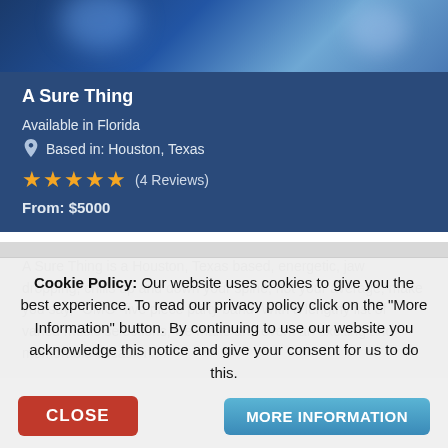[Figure (photo): Blurred bokeh background photo with blue tones, appears to be a concert or event setting]
A Sure Thing
Available in Florida
Based in: Houston, Texas
★★★★★ (4 Reviews)
From: $5000
A Sure Thing is a Houston, Texas based, energetic, jaw dropping, chills up and down your spine, not your average, make you say, "OMG" five piece party band. With a lengthy list of varied music selections, we make any event an exciting and memorable occasion....
Cookie Policy: Our website uses cookies to give you the best experience. To read our privacy policy click on the "More Information" button. By continuing to use our website you acknowledge this notice and give your consent for us to do this.